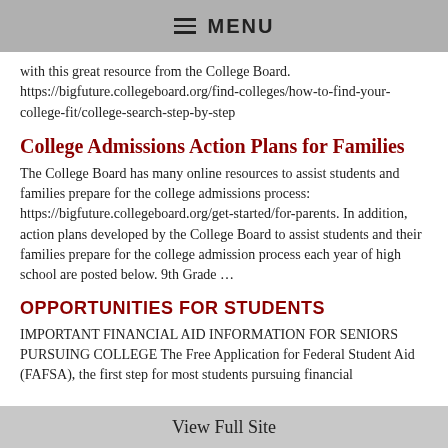≡ MENU
with this great resource from the College Board. https://bigfuture.collegeboard.org/find-colleges/how-to-find-your-college-fit/college-search-step-by-step
College Admissions Action Plans for Families
The College Board has many online resources to assist students and families prepare for the college admissions process: https://bigfuture.collegeboard.org/get-started/for-parents. In addition, action plans developed by the College Board to assist students and their families prepare for the college admission process each year of high school are posted below. 9th Grade …
OPPORTUNITIES FOR STUDENTS
IMPORTANT FINANCIAL AID INFORMATION FOR SENIORS PURSUING COLLEGE The Free Application for Federal Student Aid (FAFSA), the first step for most students pursuing financial
View Full Site